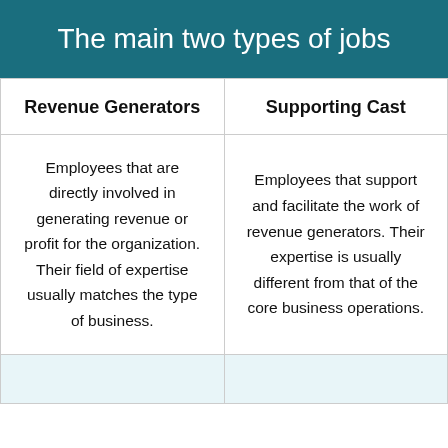The main two types of jobs
| Revenue Generators | Supporting Cast |
| --- | --- |
| Employees that are directly involved in generating revenue or profit for the organization. Their field of expertise usually matches the type of business. | Employees that support and facilitate the work of revenue generators. Their expertise is usually different from that of the core business operations. |
|  |  |